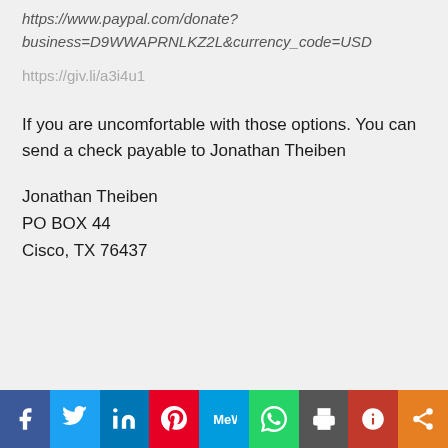https://www.paypal.com/donate?business=D9WWAPRNLKZ2L&currency_code=USD
https://giv.li/a3i4u1
If you are uncomfortable with those options. You can send a check payable to Jonathan Theiben
Jonathan Theiben
PO BOX 44
Cisco, TX 76437
Social share bar: Facebook, Twitter, LinkedIn, Pinterest, MeWe, WhatsApp, Print, Parler, Share